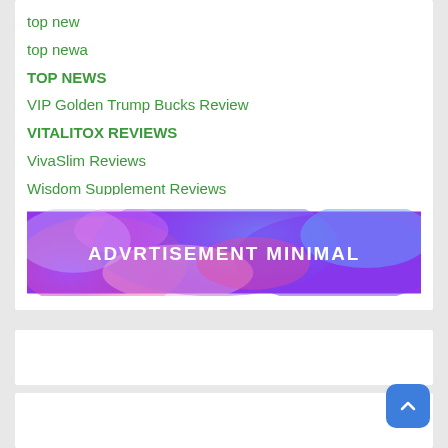top new
top newa
TOP NEWS
VIP Golden Trump Bucks Review
VITALITOX REVIEWS
VivaSlim Reviews
Wisdom Supplement Reviews
[Figure (infographic): Advertisement banner with colorful purple/blue/pink watercolor background and white bold text reading ADVRTISEMENT MINIMAL]